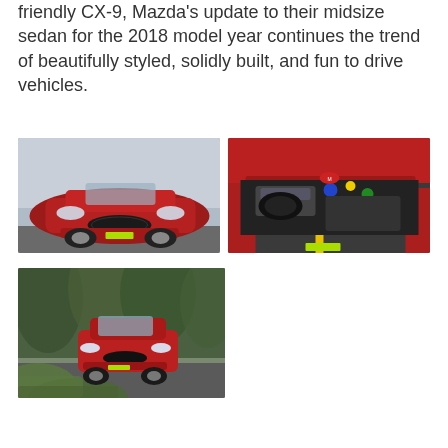friendly CX-9, Mazda's update to their midsize sedan for the 2018 model year continues the trend of beautifully styled, solidly built, and fun to drive vehicles.
[Figure (photo): Front view of a red Mazda sedan on a parking lot, with water in the background. Green dealer sticker on front bumper.]
[Figure (photo): Engine bay of a red Mazda with hood open, shot from above at an angle showing the engine components. Yellow lane marking visible below.]
[Figure (photo): Front view of a red Mazda sedan parked near trees, shot from a low angle with green foliage blurred in the foreground.]